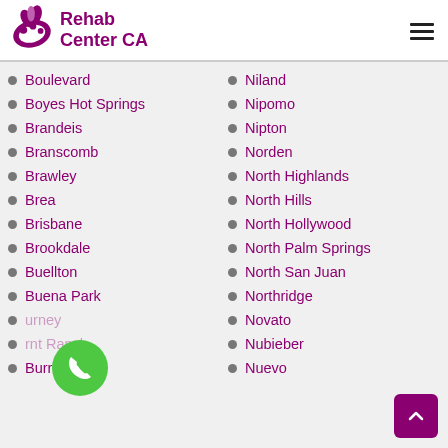Rehab Center CA
Boulevard
Boyes Hot Springs
Brandeis
Branscomb
Brawley
Brea
Brisbane
Brookdale
Buellton
Buena Park
Burney
Burnt Ranch
Burrel
Niland
Nipomo
Nipton
Norden
North Highlands
North Hills
North Hollywood
North Palm Springs
North San Juan
Northridge
Novato
Nubieber
Nuevo